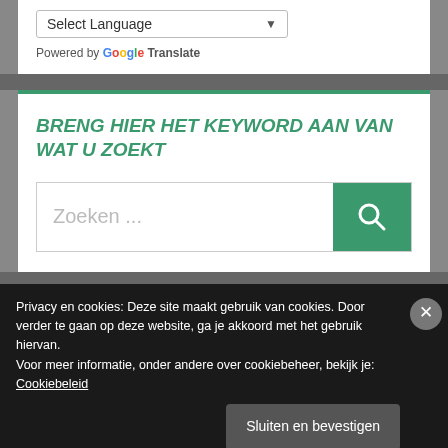[Figure (screenshot): Dropdown selector labeled 'Select Language' with a down arrow, followed by 'Powered by Google Translate' text]
BRENG HIER HET KEYWORD AAN VAN WAT U ZOEKT
[Figure (screenshot): Search bar with placeholder text 'Zoeken ...' and a green search button with magnifying glass icon]
Privacy en cookies: Deze site maakt gebruik van cookies. Door verder te gaan op deze website, ga je akkoord met het gebruik hiervan. Voor meer informatie, onder andere over cookiebeheer, bekijk je: Cookiebeleid
Sluiten en bevestigen